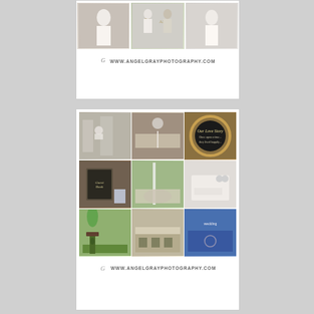[Figure (photo): Top collage block with three wedding photos (bride in dress, couple in front of letters, bride from behind) and watermark www.angelgrayphotography.com below]
[Figure (photo): Bottom collage block with 3x3 grid of wedding reception detail photos: escort cards on door, table setting with glassware, oval gold-framed chalkboard with 'Our Love Story' text, person signing guestbook with chalkboard sign, outdoor reception tent scene, white napkin with cufflinks and card, guests playing cornhole, indoor reception table setting, blue cornhole board with writing. Watermark www.angelgrayphotography.com below grid.]